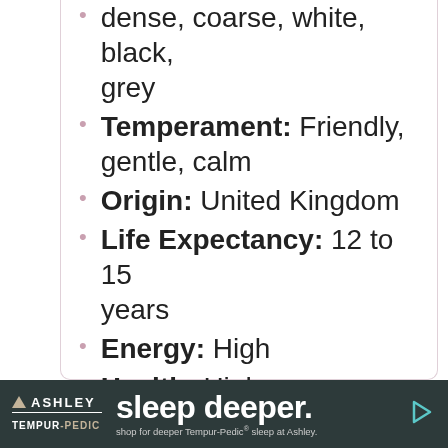dense, coarse, white, black, grey
Temperament: Friendly, gentle, calm
Origin: United Kingdom
Life Expectancy: 12 to 15 years
Energy: High
Health: High
Trainability: High
Grooming Need: High
[Figure (other): Ashley Tempur-Pedic advertisement banner: 'sleep deeper. shop for deeper Tempur-Pedic sleep at Ashley.']